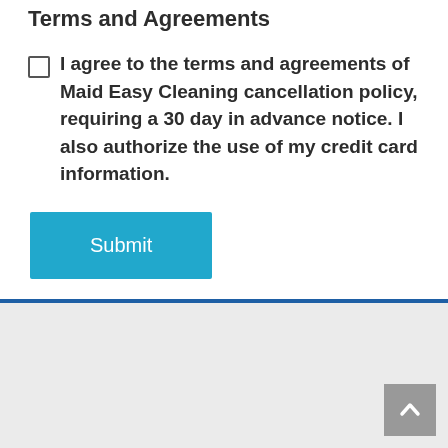Terms and Agreements
I agree to the terms and agreements of Maid Easy Cleaning cancellation policy, requiring a 30 day in advance notice. I also authorize the use of my credit card information.
Submit